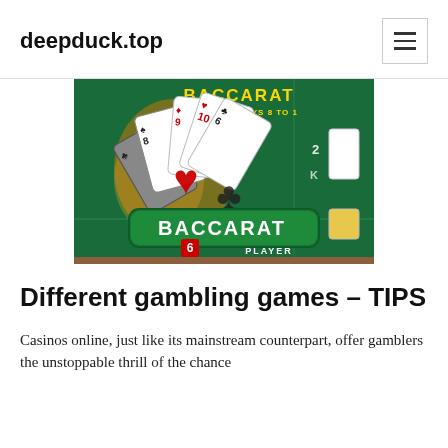deepduck.top
[Figure (photo): Baccarat casino game promotional image showing playing cards fanned out on a green felt table with the word BACCARAT and text PAYS 8 TO 1 and PLAYER visible]
Different gambling games – TIPS
Casinos online, just like its mainstream counterpart, offer gamblers the unstoppable thrill of the chance